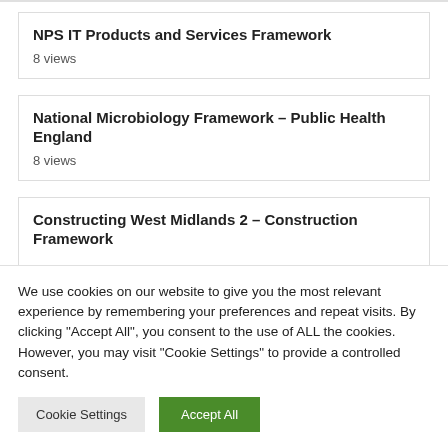NPS IT Products and Services Framework
8 views
National Microbiology Framework – Public Health England
8 views
Constructing West Midlands 2 – Construction Framework
We use cookies on our website to give you the most relevant experience by remembering your preferences and repeat visits. By clicking "Accept All", you consent to the use of ALL the cookies. However, you may visit "Cookie Settings" to provide a controlled consent.